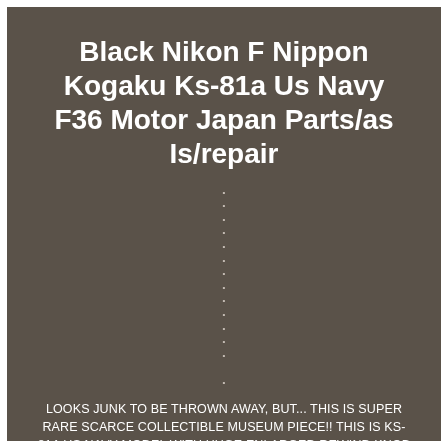Black Nikon F Nippon Kogaku Ks-81a Us Navy F36 Motor Japan Parts/as Is/repair
LOOKS JUNK TO BE THROWN AWAY, BUT... THIS IS SUPER RARE SCARCE COLLECTIBLE MUSEUM PIECE!! THIS IS KS-81A US NAVY MODEL WITH HUGE ENLARGED REWIND KNOB FOR USING IT WHILE WEARING GLOVES!!! PRISM IN